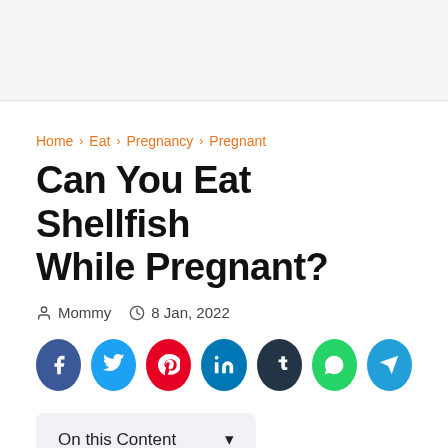Home › Eat › Pregnancy › Pregnant
Can You Eat Shellfish While Pregnant?
Mommy  8 Jan, 2022
[Figure (infographic): Social sharing buttons: Facebook, Twitter, Pinterest, LinkedIn, Tumblr, WhatsApp, Telegram]
On this Content ▾